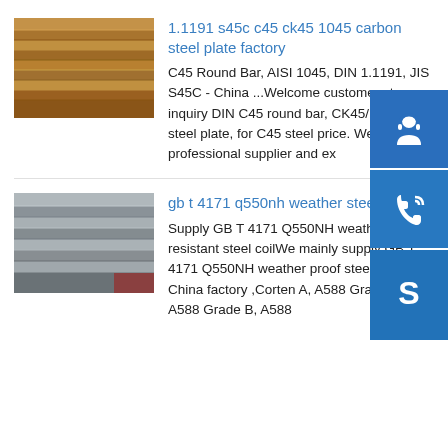[Figure (photo): Stack of carbon steel plates, brownish-orange color]
1.1191 s45c c45 ck45 1045 carbon steel plate factory
C45 Round Bar, AISI 1045, DIN 1.1191, JIS S45C - China ...Welcome customers to inquiry DIN C45 round bar, CK45/1.1191 steel plate, for C45 steel price. We are professional supplier and ex
[Figure (photo): Stack of weather steel plates, gray color]
gb t 4171 q550nh weather steel mill
Supply GB T 4171 Q550NH weather resistant steel coilWe mainly supply GB T 4171 Q550NH weather proof steel sheet China factory ,Corten A, A588 Grade A, A588 Grade B, A588